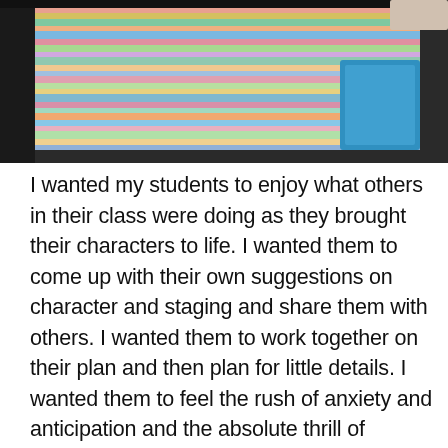[Figure (photo): A colorful striped textile or fabric displayed on what appears to be a table or surface, with a blue container visible in the background. The image shows a classroom or craft setting.]
I wanted my students to enjoy what others in their class were doing as they brought their characters to life. I wanted them to come up with their own suggestions on character and staging and share them with others. I wanted them to work together on their plan and then plan for little details. I wanted them to feel the rush of anxiety and anticipation and the absolute thrill of experiencing all of what you have planned take place in front of a live audience who laughs and applauds with approval at what you have created for their enjoyment. I love seeing the transformation in my students as they move from a sense of individuality to a sense of the unity of the group and the importance of depending on others for your own individual